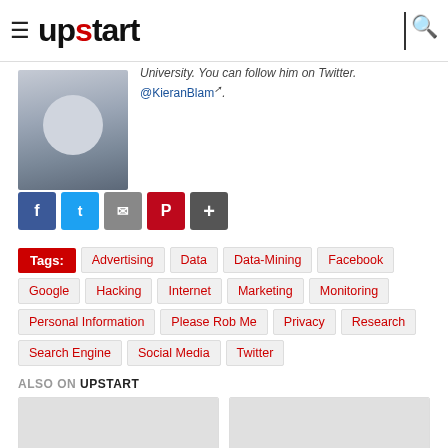upstart
University. You can follow him on Twitter. @KieranBlam.
[Figure (photo): Headshot photo of a young man with glasses and a beard wearing a grey t-shirt]
Social share buttons: Facebook, Twitter, Email, Pinterest, More
Tags: Advertising  Data  Data-Mining  Facebook  Google  Hacking  Internet  Marketing  Monitoring  Personal Information  Please Rob Me  Privacy  Research  Search Engine  Social Media  Twitter
ALSO ON UPSTART